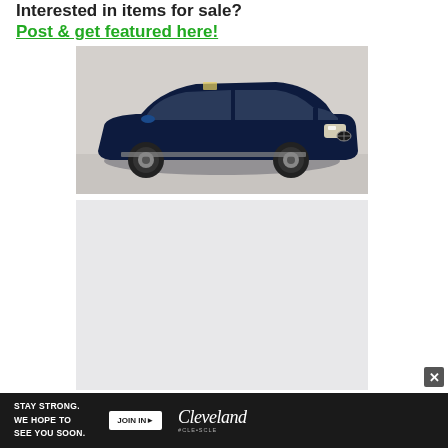Interested in items for sale?
Post & get featured here!
[Figure (photo): Dark blue BMW X5 SUV photographed from the front-left angle in a showroom setting]
[Figure (photo): Second vehicle image placeholder (light gray background)]
[Figure (infographic): Advertisement banner: STAY STRONG. WE HOPE TO SEE YOU SOON. JOIN IN arrow button. Cleveland logo with #CLE hashtag.]